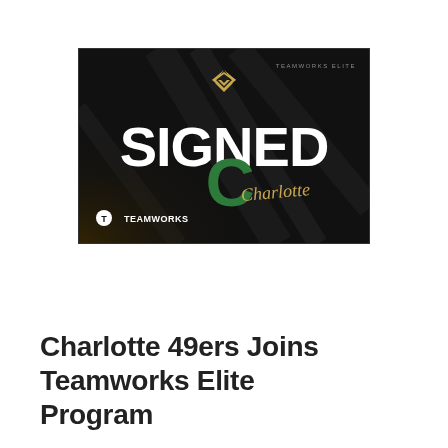[Figure (illustration): Dark promotional graphic with text 'SIGNED' in large white bold letters, a green 'C' Charlotte logo overlapping, gold script 'Charlotte' text, gold double-chevron logo at top center, 'TEAMWORKS ELITE' text in top right corner, and Teamworks logo in bottom left corner. Dark background with subtle diagonal pattern.]
Charlotte 49ers Joins Teamworks Elite Program